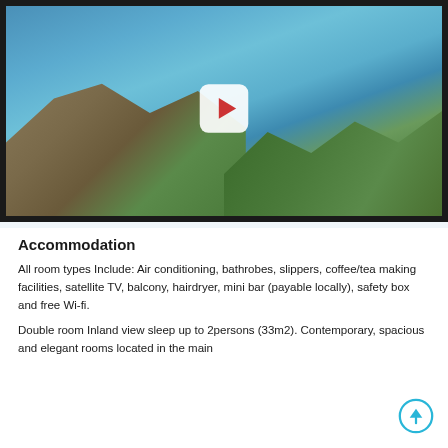[Figure (photo): Aerial drone video thumbnail showing rocky coastal cliffs with trees and a blue sea in the background, with a YouTube-style play button overlay in the center]
Accommodation
All room types Include: Air conditioning, bathrobes, slippers, coffee/tea making facilities, satellite TV, balcony, hairdryer, mini bar (payable locally), safety box and free Wi-fi.
Double room Inland view sleep up to 2persons (33m2). Contemporary, spacious and elegant rooms located in the main building...